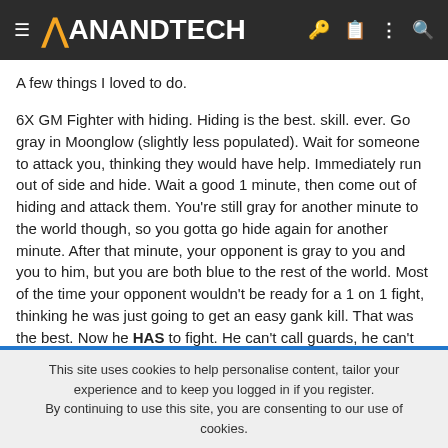AnandTech
A few things I loved to do.
6X GM Fighter with hiding. Hiding is the best. skill. ever. Go gray in Moonglow (slightly less populated). Wait for someone to attack you, thinking they would have help. Immediately run out of side and hide. Wait a good 1 minute, then come out of hiding and attack them. You're still gray for another minute to the world though, so you gotta go hide again for another minute. After that minute, your opponent is gray to you and you to him, but you are both blue to the rest of the world. Most of the time your opponent wouldn't be ready for a 1 on 1 fight, thinking he was just going to get an easy gank kill. That was the best. Now he HAS to fight. He can't call guards, he can't get help, its 1 on 1. Chase him down, kill him and loot him. In town. In front of everyone.
This site uses cookies to help personalise content, tailor your experience and to keep you logged in if you register. By continuing to use this site, you are consenting to our use of cookies.